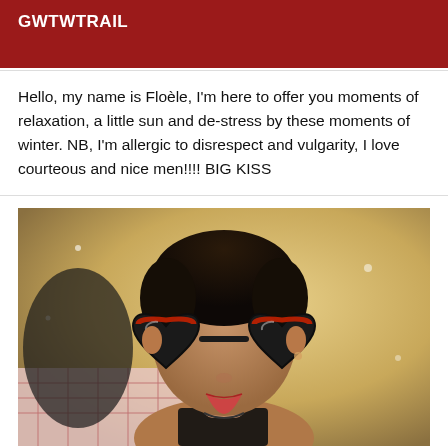GWTWTRAIL
Hello, my name is Floèle, I'm here to offer you moments of relaxation, a little sun and de-stress by these moments of winter. NB, I'm allergic to disrespect and vulgarity, I love courteous and nice men!!!! BIG KISS
[Figure (photo): A woman lying down, wearing black heart-shaped sunglasses with a red stripe, dark hair pulled back, wearing a black top, on a plaid/checked surface with a warm blurred background.]